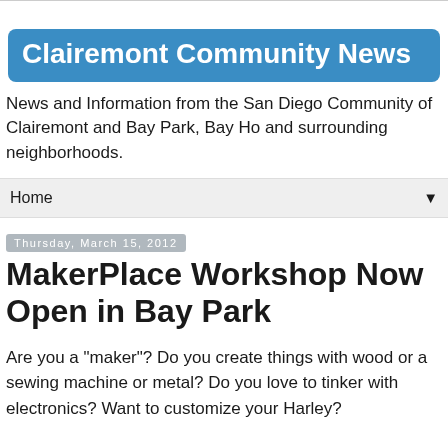Clairemont Community News
News and Information from the San Diego Community of Clairemont and Bay Park, Bay Ho and surrounding neighborhoods.
Home
Thursday, March 15, 2012
MakerPlace Workshop Now Open in Bay Park
Are you a "maker"? Do you create things with wood or a sewing machine or metal?  Do you love to tinker with electronics? Want to customize your Harley?